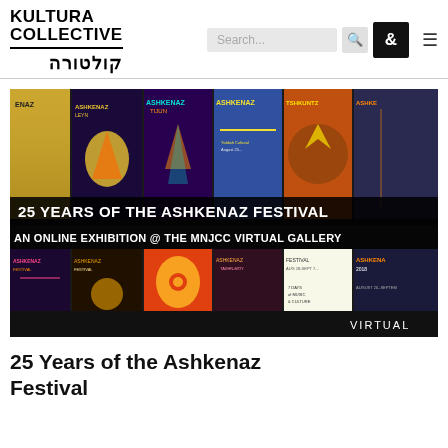KULTURA COLLECTIVE קולטורה
[Figure (screenshot): Banner image showing a collage of Ashkenaz Festival posters across multiple years with overlay text reading '25 YEARS OF THE ASHKENAZ FESTIVAL' and 'AN ONLINE EXHIBITION @ THE MNJCC VIRTUAL GALLERY'. Bottom right shows the word 'VIRTUAL' in white on black.]
25 Years of the Ashkenaz Festival